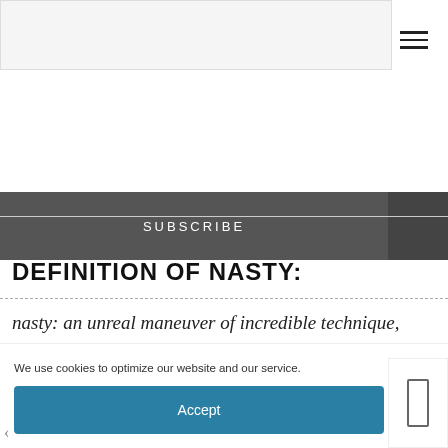SUBSCRIBE
DEFINITION OF NASTY:
nasty: an unreal maneuver of incredible technique, something that is ridiculously good, tricky and manipulative but with a result that can't help but be
We use cookies to optimize our website and our service.
Accept